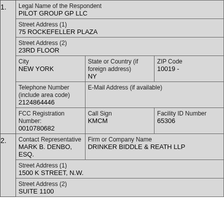| 1. | Legal Name of the Respondent
PILOT GROUP GP LLC |
|  | Street Address (1)
75 ROCKEFELLER PLAZA |
|  | Street Address (2)
23RD FLOOR |
|  | City
NEW YORK | State or Country (if foreign address)
NY | ZIP Code
10019 - |
|  | Telephone Number (include area code)
2124864446 | E-Mail Address (if available) |
|  | FCC Registration Number:
0010780682 | Call Sign
KMCM | Facility ID Number
65306 |
| 2. | Contact Representative
MARK B. DENBO, ESQ. | Firm or Company Name
DRINKER BIDDLE & REATH LLP |
|  | Street Address (1)
1500 K STREET, N.W. |
|  | Street Address (2)
SUITE 1100 |